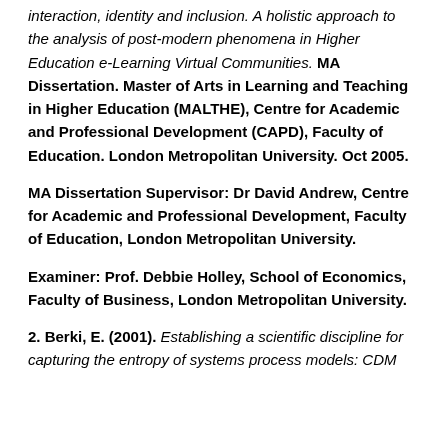interaction, identity and inclusion. A holistic approach to the analysis of post-modern phenomena in Higher Education e-Learning Virtual Communities. MA Dissertation. Master of Arts in Learning and Teaching in Higher Education (MALTHE), Centre for Academic and Professional Development (CAPD), Faculty of Education. London Metropolitan University. Oct 2005.
MA Dissertation Supervisor: Dr David Andrew, Centre for Academic and Professional Development, Faculty of Education, London Metropolitan University.
Examiner: Prof. Debbie Holley, School of Economics, Faculty of Business, London Metropolitan University.
2. Berki, E. (2001). Establishing a scientific discipline for capturing the entropy of systems process models: CDM...